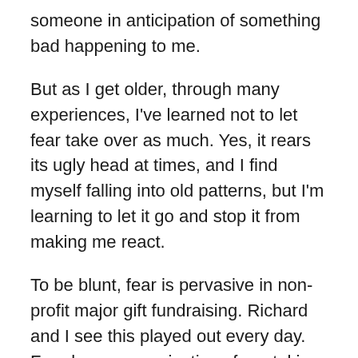someone in anticipation of something bad happening to me.
But as I get older, through many experiences, I've learned not to let fear take over as much. Yes, it rears its ugly head at times, and I find myself falling into old patterns, but I'm learning to let it go and stop it from making me react.
To be blunt, fear is pervasive in non-profit major gift fundraising. Richard and I see this played out every day. Fear keeps organizations from taking bold initiatives. Fear keeps major gift officers from engaging donors and growing their portfolios.
Fear, at its worst, keeps us happy with the